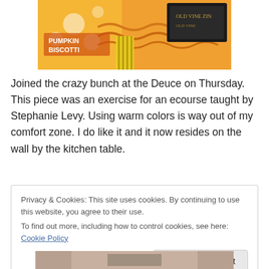[Figure (photo): Colorful orange-themed collage with text reading 'Pumpkin Biscotti' and 'Old Vine Zin', featuring orange wavy patterns and autumn decorative elements.]
Joined the crazy bunch at the Deuce on Thursday. This piece was an exercise for an ecourse taught by Stephanie Levy. Using warm colors is way out of my comfort zone. I do like it and it now resides on the wall by the kitchen table.
Privacy & Cookies: This site uses cookies. By continuing to use this website, you agree to their use.
To find out more, including how to control cookies, see here: Cookie Policy
[Figure (photo): Partial photo visible at bottom of page.]